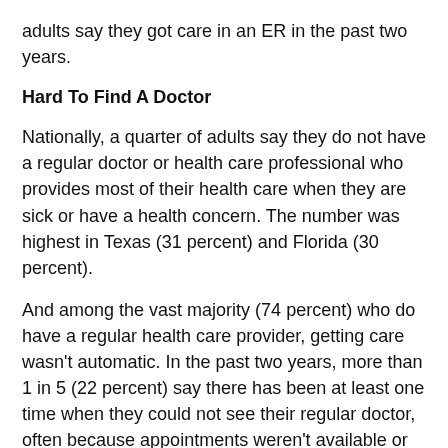adults say they got care in an ER in the past two years.
Hard To Find A Doctor
Nationally, a quarter of adults say they do not have a regular doctor or health care professional who provides most of their health care when they are sick or have a health concern. The number was highest in Texas (31 percent) and Florida (30 percent).
And among the vast majority (74 percent) who do have a regular health care provider, getting care wasn't automatic. In the past two years, more than 1 in 5 (22 percent) say there has been at least one time when they could not see their regular doctor, often because appointments weren't available or they needed care at night or on the weekend when the doctor's office was not open.